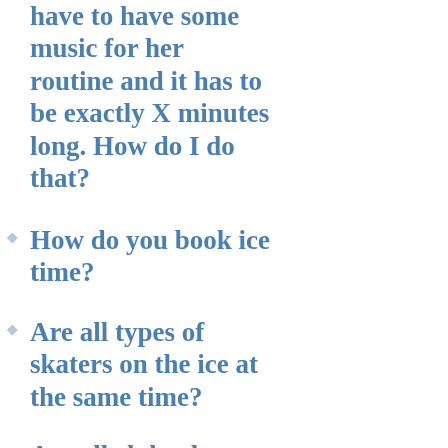have to have some music for her routine and it has to be exactly X minutes long. How do I do that?
How do you book ice time?
Are all types of skaters on the ice at the same time?
Are all clubs the same?